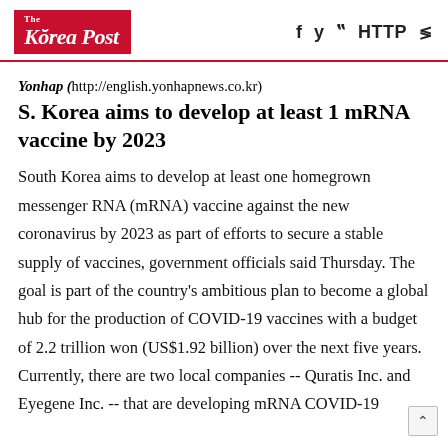The Korea Post
Yonhap (http://english.yonhapnews.co.kr)
S. Korea aims to develop at least 1 mRNA vaccine by 2023
South Korea aims to develop at least one homegrown messenger RNA (mRNA) vaccine against the new coronavirus by 2023 as part of efforts to secure a stable supply of vaccines, government officials said Thursday. The goal is part of the country's ambitious plan to become a global hub for the production of COVID-19 vaccines with a budget of 2.2 trillion won (US$1.92 billion) over the next five years. Currently, there are two local companies -- Quratis Inc. and Eyegene Inc. -- that are developing mRNA COVID-19